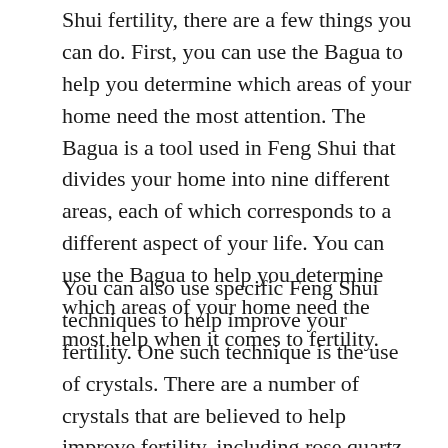Shui fertility, there are a few things you can do. First, you can use the Bagua to help you determine which areas of your home need the most attention. The Bagua is a tool used in Feng Shui that divides your home into nine different areas, each of which corresponds to a different aspect of your life. You can use the Bagua to help you determine which areas of your home need the most help when it comes to fertility.
You can also use specific Feng Shui techniques to help improve your fertility. One such technique is the use of crystals. There are a number of crystals that are believed to help improve fertility, including rose quartz, amethyst, and jade. You can place these crystals in the areas of your home that correspond